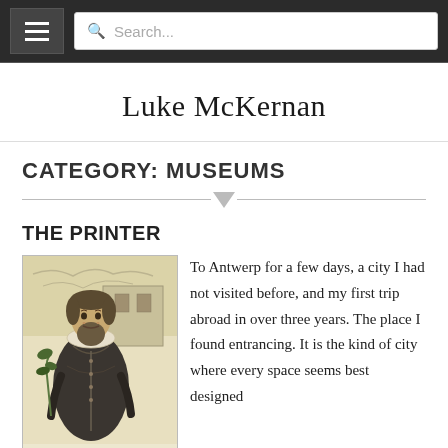☰  Search...
Luke McKernan
CATEGORY: MUSEUMS
THE PRINTER
[Figure (illustration): Historical engraved portrait of a bearded man in Elizabethan/Jacobean era clothing, holding a plant, with architectural background]
To Antwerp for a few days, a city I had not visited before, and my first trip abroad in over three years. The place I found entrancing. It is the kind of city where every space seems best designed